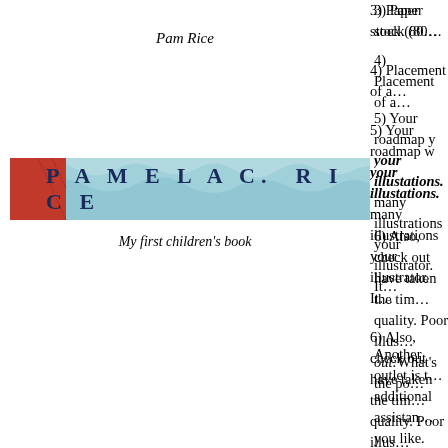Pam Rice
[Figure (illustration): A decorative banner with 'PAMELA C. RICE' text over a light blue watercolor/wave background with a red block on the left side]
My first children's book
3) Paper stock (80…
4) Placement of a…
5) Your roadmap … your illustations. … many illustrations … your illustrator. It…
6) Also, check out … have taken the tim… quality. Poor illus… out: What's the po…
Another outlet is t… additional assistan… you like.
Take the text and … totally finished, ju… is all you really ne…
Suggestion: Try a… your choice. I wou…